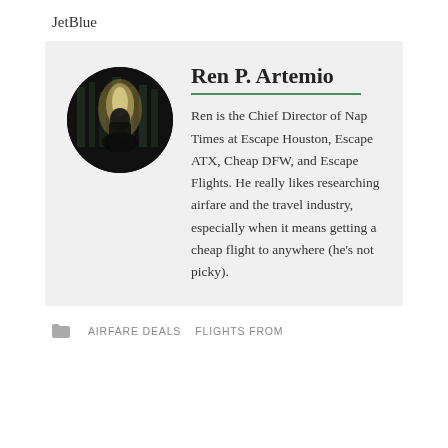JetBlue
Ren P. Artemio
Ren is the Chief Director of Nap Times at Escape Houston, Escape ATX, Cheap DFW, and Escape Flights. He really likes researching airfare and the travel industry, especially when it means getting a cheap flight to anywhere (he's not picky).
AIRFARE DEALS   FLIGHTS FROM